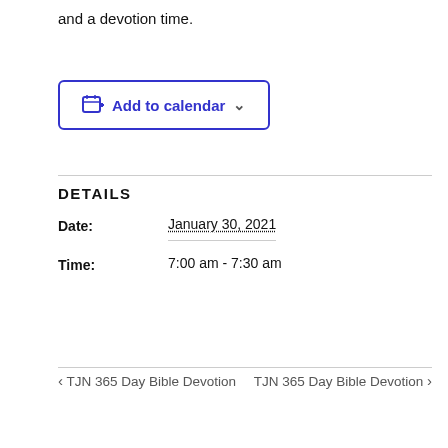and a devotion time.
[Figure (other): Add to calendar button with calendar icon and dropdown chevron]
DETAILS
Date:   January 30, 2021
Time:   7:00 am - 7:30 am
< TJN 365 Day Bible Devotion
TJN 365 Day Bible Devotion >